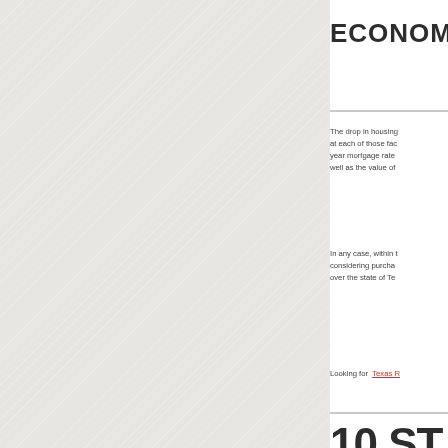[Figure (photo): Light gray textured background panel on the left side of the page]
ECONOM
The drop in housing at each of those fac year mortgage rate well as the value of
In any case, within t considering purcha over the state of Te
Looking for  Texas R
10 ST WHEN